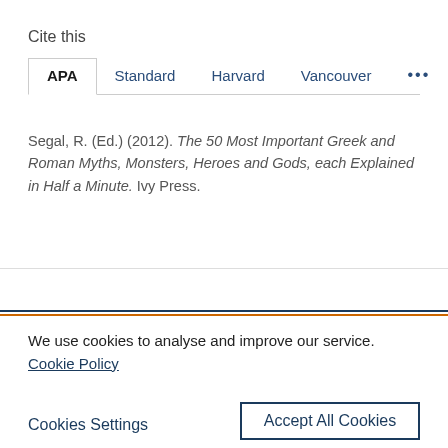Cite this
APA  Standard  Harvard  Vancouver  ...
Segal, R. (Ed.) (2012). The 50 Most Important Greek and Roman Myths, Monsters, Heroes and Gods, each Explained in Half a Minute. Ivy Press.
We use cookies to analyse and improve our service. Cookie Policy
Cookies Settings
Accept All Cookies